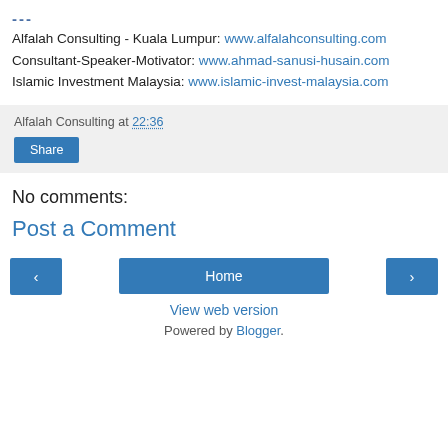---
Alfalah Consulting - Kuala Lumpur: www.alfalahconsulting.com
Consultant-Speaker-Motivator: www.ahmad-sanusi-husain.com
Islamic Investment Malaysia: www.islamic-invest-malaysia.com
Alfalah Consulting at 22:36
Share
No comments:
Post a Comment
‹
Home
›
View web version
Powered by Blogger.